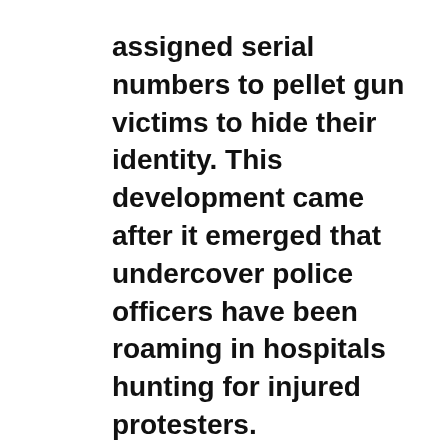assigned serial numbers to pellet gun victims to hide their identity. This development came after it emerged that undercover police officers have been roaming in hospitals hunting for injured protesters.
“I saw a small iron ball in her eye. When we tried to hospitalise her, police stopped us and beat us up. I was crying to see what they had done to my daughter.